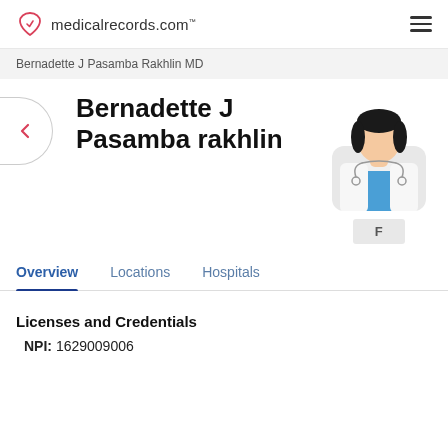medicalrecords.com
Bernadette J Pasamba Rakhlin MD
Bernadette J Pasamba rakhlin
[Figure (illustration): Illustrated female doctor avatar with dark hair, white coat, blue scrubs, and stethoscope]
F
Overview   Locations   Hospitals
Licenses and Credentials
NPI: 1629009006